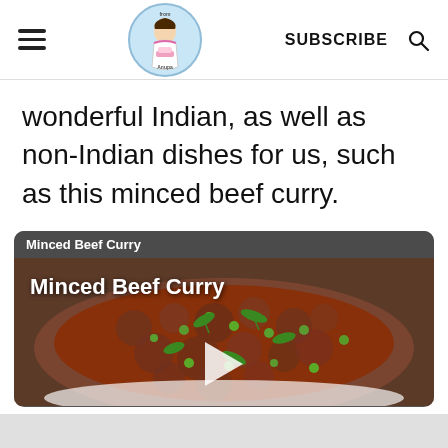SUBSCRIBE
wonderful Indian, as well as non-Indian dishes for us, such as this minced beef curry.
[Figure (screenshot): Video thumbnail showing a bowl of minced beef curry with peas and herbs, titled 'Minced Beef Curry' with a play button overlay]